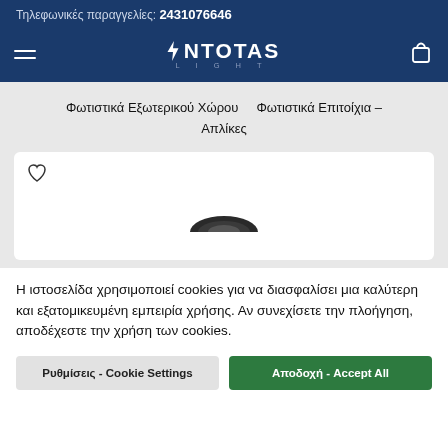Τηλεφωνικές παραγγελίες: 2431076646
[Figure (logo): NTOTAS LIGHT logo with lightning bolt icon, white text on dark navy background, hamburger menu icon on left, shopping bag icon on right]
Φωτιστικά Εξωτερικού Χώρου    Φωτιστικά Επιτοίχια – Απλίκες
[Figure (photo): Product card with wishlist heart icon in top left and partial view of a dark circular lighting fixture at bottom]
Η ιστοσελίδα χρησιμοποιεί cookies για να διασφαλίσει μια καλύτερη και εξατομικευμένη εμπειρία χρήσης. Αν συνεχίσετε την πλοήγηση, αποδέχεστε την χρήση των cookies.
Ρυθμίσεις - Cookie Settings    Αποδοχή - Accept All